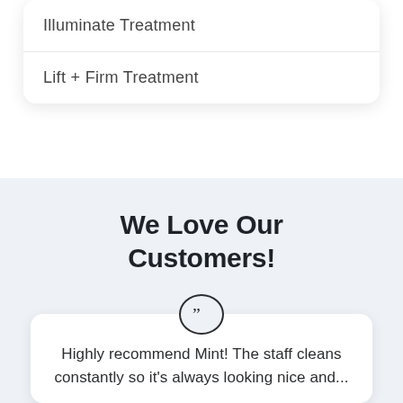Illuminate Treatment
Lift + Firm Treatment
We Love Our Customers!
Highly recommend Mint! The staff cleans constantly so it’s always looking nice and...